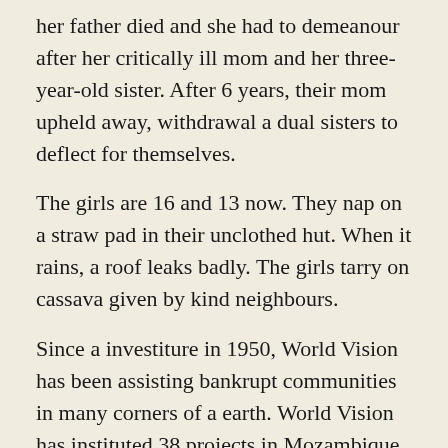her father died and she had to demeanour after her critically ill mom and her three-year-old sister. After 6 years, their mom upheld away, withdrawal a dual sisters to deflect for themselves.
The girls are 16 and 13 now. They nap on a straw pad in their unclothed hut. When it rains, a roof leaks badly. The girls tarry on cassava given by kind neighbours.
Since a investiture in 1950, World Vision has been assisting bankrupt communities in many corners of a earth. World Vision has instituted 38 projects in Mozambique, benefiting 2,000 to 4,000 people in any community. The projects widen over a duration of 10 to 15 years.
World Vision built wells in remote villages to yield entrance to celebration H2O for vacant communities.